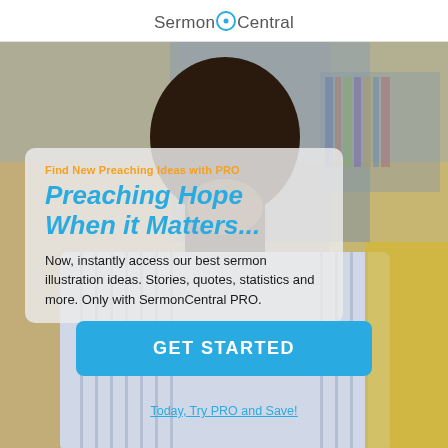SermonCentral
[Figure (photo): Background photo of a man in a striped shirt studying, with library shelves in the background]
Find New Preaching Ideas with PRO
Preaching Hope When it Matters...
Now, instantly access our best sermon illustration ideas. Stories, quotes, statistics and more. Only with SermonCentral PRO.
GET STARTED
Today, Try PRO and Save!